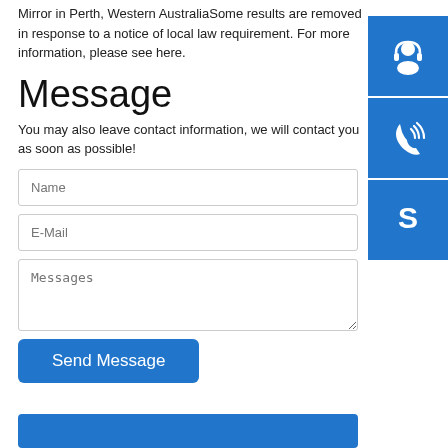Mirror in Perth, Western AustraliaSome results are removed in response to a notice of local law requirement. For more information, please see here.
Message
You may also leave contact information, we will contact you as soon as possible!
[Figure (illustration): Three blue square icon buttons on the right side: a customer support headset icon, a phone with signal waves icon, and a Skype logo icon.]